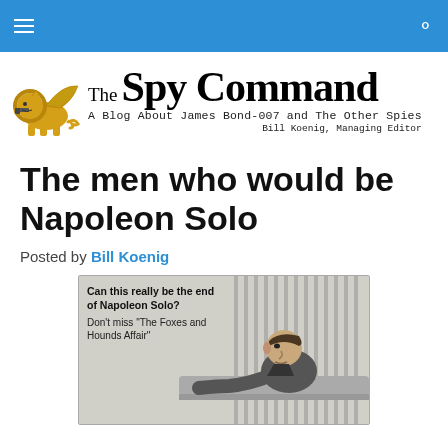[Figure (logo): The Spy Command logo with winged lion holding a gun, site title 'The Spy Command', subtitle 'A Blog About James Bond-007 and The Other Spies', 'Bill Koenig, Managing Editor']
The men who would be Napoleon Solo
Posted by Bill Koenig
[Figure (photo): Black and white promotional image with text: 'Can this really be the end of Napoleon Solo? Don’t miss “The Foxes and Hounds Affair”' and a man leaning over a surface looking tense.]